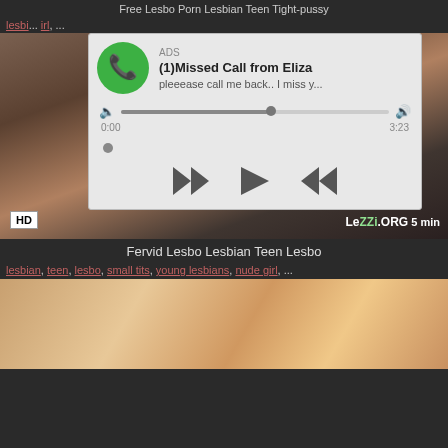Free Lesbo Porn Lesbian Teen Tight-pussy
lesbian, ... girl, ...
[Figure (screenshot): Video thumbnail with ad overlay showing missed call notification from Eliza with audio player controls, HD badge, LeZZi.ORG watermark, 5 min duration]
Fervid Lesbo Lesbian Teen Lesbo
lesbian, teen, lesbo, small tits, young lesbians, nude girl, ...
[Figure (photo): Close-up video thumbnail]